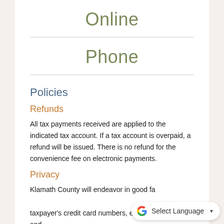Online
Phone
Policies
Refunds
All tax payments received are applied to the indicated tax account. If a tax account is overpaid, a refund will be issued. There is no refund for the convenience fee on electronic payments.
Privacy
Klamath County will endeavor in good fa... taxpayer's credit card numbers, expiration dates, and